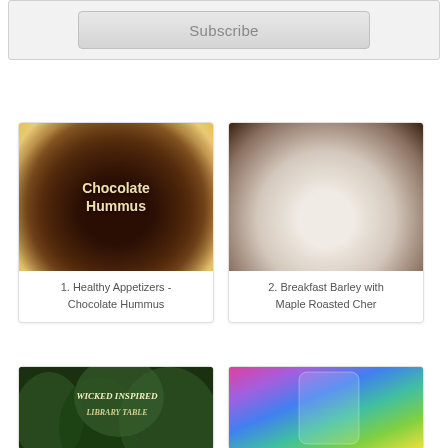[Figure (screenshot): Subscribe button in a light gray form box]
[Figure (photo): Card 1: Chocolate Hummus - photo of chocolate hummus in a bowl with crackers and fruit, text overlay reads 'Chocolate Hummus']
1. Healthy Appetizers - Chocolate Hummus
[Figure (photo): Card 2: Breakfast Barley - overhead photo of a bowl of barley topped with blueberries and granola, with a spoon and small bottle on marble surface]
2. Breakfast Barley with Maple Roasted Cher
[Figure (photo): Card 3 (partial): Wicked Inspired Library Table - dark green forest background with styled text]
[Figure (photo): Card 4 (partial): Rainbow colored fabric or tie-dye bag]